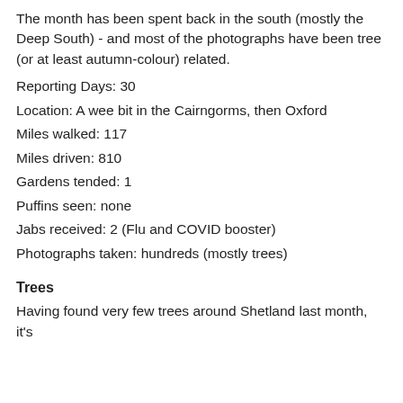The month has been spent back in the south (mostly the Deep South) - and most of the photographs have been tree (or at least autumn-colour) related.
Reporting Days: 30
Location: A wee bit in the Cairngorms, then Oxford
Miles walked: 117
Miles driven: 810
Gardens tended: 1
Puffins seen: none
Jabs received: 2 (Flu and COVID booster)
Photographs taken: hundreds (mostly trees)
Trees
Having found very few trees around Shetland last month, it's